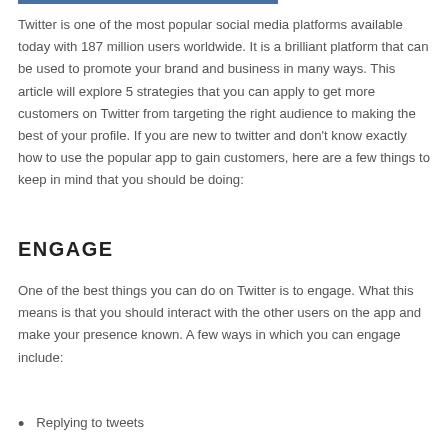Twitter is one of the most popular social media platforms available today with 187 million users worldwide. It is a brilliant platform that can be used to promote your brand and business in many ways. This article will explore 5 strategies that you can apply to get more customers on Twitter from targeting the right audience to making the best of your profile. If you are new to twitter and don't know exactly how to use the popular app to gain customers, here are a few things to keep in mind that you should be doing:
ENGAGE
One of the best things you can do on Twitter is to engage. What this means is that you should interact with the other users on the app and make your presence known. A few ways in which you can engage include:
Replying to tweets